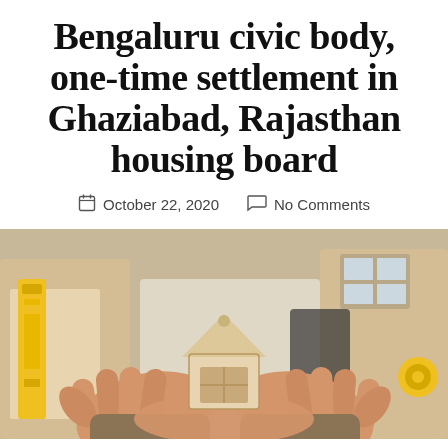Bengaluru civic body, one-time settlement in Ghaziabad, Rajasthan housing board
October 22, 2020   No Comments
[Figure (photo): Two hands cupped together holding a small wooden house figurine with a window cutout, surrounded by blurred construction tools and materials in the background]